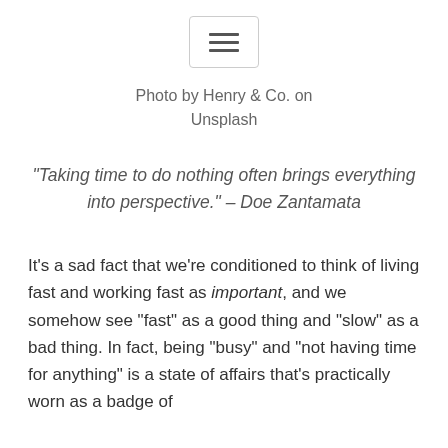[Figure (other): Hamburger menu icon — three horizontal lines inside a rounded rectangle border]
Photo by Henry & Co. on Unsplash
“Taking time to do nothing often brings everything into perspective.” – Doe Zantamata
It’s a sad fact that we’re conditioned to think of living fast and working fast as important, and we somehow see “fast” as a good thing and “slow” as a bad thing. In fact, being “busy” and “not having time for anything” is a state of affairs that’s practically worn as a badge of